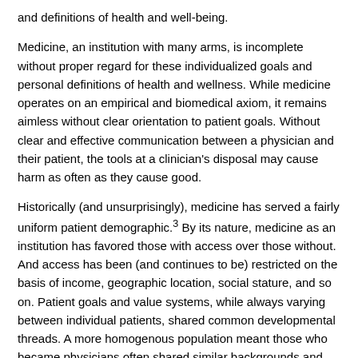and definitions of health and well-being.
Medicine, an institution with many arms, is incomplete without proper regard for these individualized goals and personal definitions of health and wellness. While medicine operates on an empirical and biomedical axiom, it remains aimless without clear orientation to patient goals. Without clear and effective communication between a physician and their patient, the tools at a clinician's disposal may cause harm as often as they cause good.
Historically (and unsurprisingly), medicine has served a fairly uniform patient demographic.3 By its nature, medicine as an institution has favored those with access over those without. And access has been (and continues to be) restricted on the basis of income, geographic location, social stature, and so on. Patient goals and value systems, while always varying between individual patients, shared common developmental threads. A more homogenous population meant those who became physicians often shared similar backgrounds and cultural characteristics to those who could access healthcare. And, subsequently, medical decisions were often made on the basis of assumed value systems (in other words, without explicit consultation).